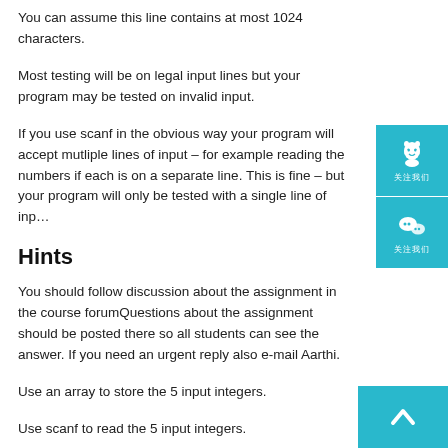You can assume this line contains at most 1024 characters.
Most testing will be on legal input lines but your program may be tested on invalid input.
If you use scanf in the obvious way your program will accept mutliple lines of input – for example reading the numbers if each is on a separate line. This is fine – but your program will only be tested with a single line of inp…
Hints
You should follow discussion about the assignment in the course forumQuestions about the assignment should be posted there so all students can see the answer. If you need an urgent reply also e-mail Aarthi.
Use an array to store the 5 input integers.
Use scanf to read the 5 input integers.